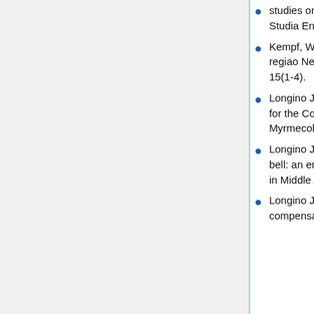studies on Neotropical ants (Hymenoptera, Formicidae). Studia Entomologica (n.s.)3: 417-466.
Kempf, W.W. 1972. Catalago abreviado das formigas da regiao Neotropical (Hym. Formicidae) Studia Entomologica 15(1-4).
Longino J. T. 2006. New species and nomenclatural changes for the Costa Rican ant fauna (Hymenoptera: Formicidae). Myrmecologische Nachrichten 8: 131-143.
Longino J. T. L., and M. G. Branstetter. 2018. The truncated bell: an enigmatic but pervasive elevational diversity pattern in Middle American ants. Ecography 41: 1-12.
Longino J. T., and R. K. Colwell. 2011. Density compensation, species composition, and richness of ants on